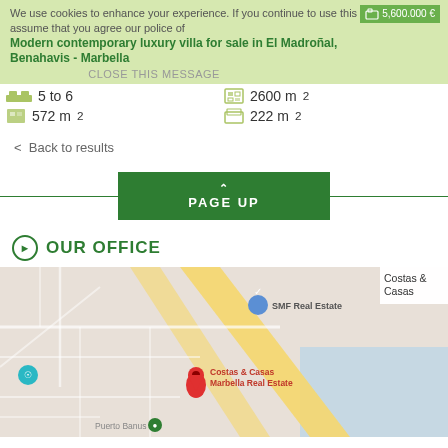We use cookies to enhance your experience. If you continue to use this site we will assume that you agree our police of cookies.
5,600.000 €
Modern contemporary luxury villa for sale in El Madroñal, Benahavis - Marbella
CLOSE THIS MESSAGE
5 to 6
2600 m²
572 m²
222 m²
< Back to results
PAGE UP
OUR OFFICE
[Figure (map): Google Maps showing location of SMF Real Estate / Costas & Casas Marbella Real Estate office, with red pin marker and nearby labels including Puerto Banus]